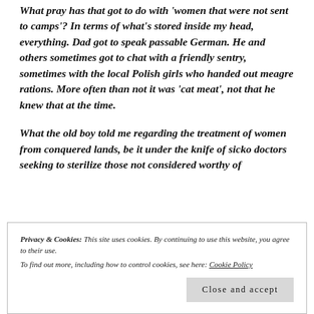What pray has that got to do with 'women that were not sent to camps'? In terms of what's stored inside my head, everything. Dad got to speak passable German. He and others sometimes got to chat with a friendly sentry, sometimes with the local Polish girls who handed out meagre rations. More often than not it was 'cat meat', not that he knew that at the time.
What the old boy told me regarding the treatment of women from conquered lands, be it under the knife of sicko doctors seeking to sterilize those not considered worthy of
Privacy & Cookies: This site uses cookies. By continuing to use this website, you agree to their use.
To find out more, including how to control cookies, see here: Cookie Policy